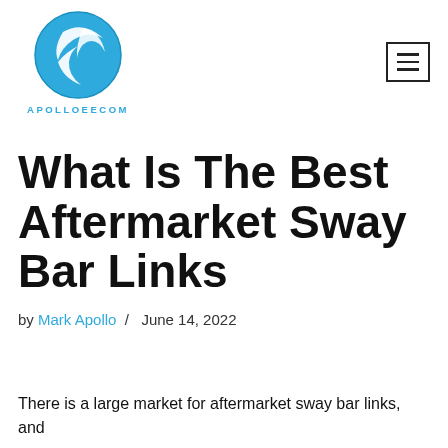[Figure (logo): ApolloEecom circular globe logo in blue with swoosh marks and text APOLLOEECOM below]
What Is The Best Aftermarket Sway Bar Links
by Mark Apollo / June 14, 2022
There is a large market for aftermarket sway bar links, and